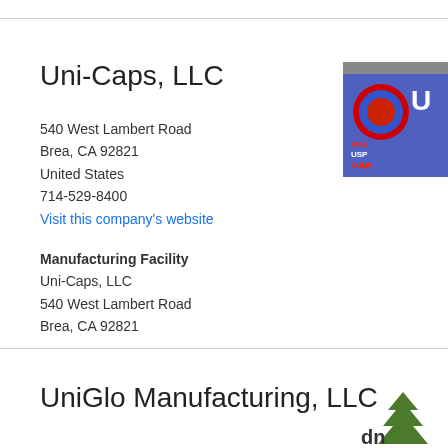Uni-Caps, LLC
540 West Lambert Road
Brea, CA 92821
United States
714-529-8400
Visit this company's website
Manufacturing Facility
Uni-Caps, LLC
540 West Lambert Road
Brea, CA 92821
[Figure (logo): Uni-Caps logo with red and blue circular design and text FDA USP COMP-]
UniGlo Manufacturing, LLC
[Figure (logo): DNI Nutraceuticals logo — green tree emblem]